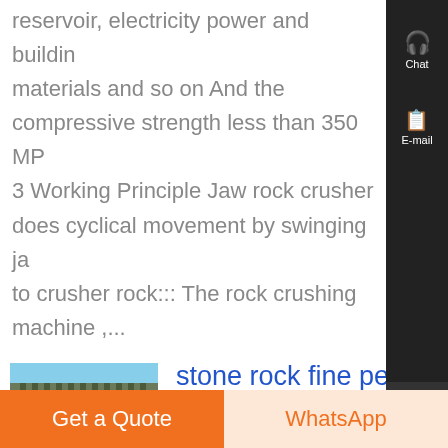reservoir, electricity power and building materials and so on And the compressive strength less than 350 MP 3 Working Principle Jaw rock crusher does cyclical movement by swinging ja to crusher rock::: The rock crushing machine ,...
[Figure (photo): Thumbnail image of jaw crusher / industrial equipment]
stone rock fine pex pe series jaw crusher plant , - Know More
20-10-2021· PE/PEW/C6X Jaw crusher - Jaw Crusher - zenithcrusher PE/PEX Series Jaw crusheris a large kind of